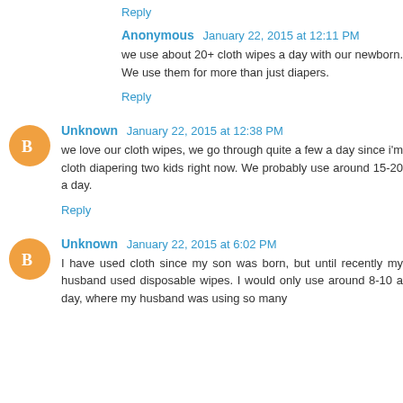Reply
Anonymous  January 22, 2015 at 12:11 PM
we use about 20+ cloth wipes a day with our newborn. We use them for more than just diapers.
Reply
Unknown  January 22, 2015 at 12:38 PM
we love our cloth wipes, we go through quite a few a day since i'm cloth diapering two kids right now. We probably use around 15-20 a day.
Reply
Unknown  January 22, 2015 at 6:02 PM
I have used cloth since my son was born, but until recently my husband used disposable wipes. I would only use around 8-10 a day, where my husband was using so many